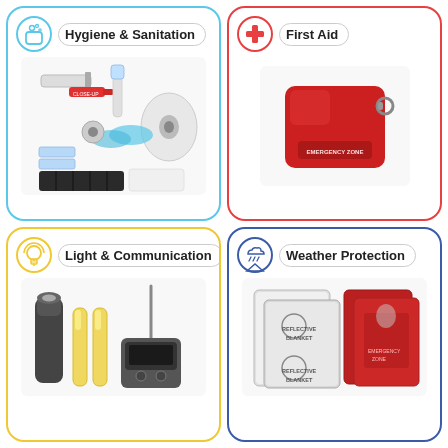[Figure (infographic): Hygiene & Sanitation category box with cyan border, soap/bubble icon, label pill, and product photo showing hygiene kit items (razor, toothbrush, toilet paper, comb, bags, etc.)]
[Figure (infographic): First Aid category box with red border, red cross icon, label pill, and product photo showing red Emergency Zone first aid pouch with keyring]
[Figure (infographic): Light & Communication category box with yellow border, lightbulb icon, label pill, and product photo showing flashlight, glow sticks, and radio antenna]
[Figure (infographic): Weather Protection category box with blue border, cloud/tent icon, label pill, and product photo showing reflective blankets and emergency ponchos in packaging]